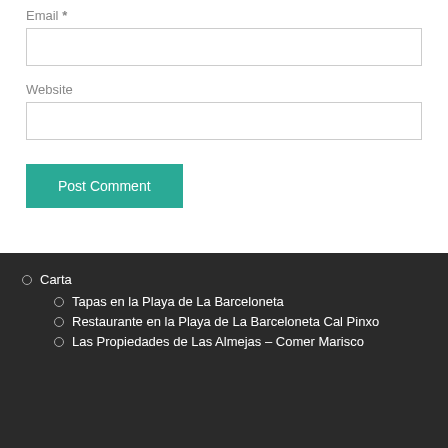Email *
Website
Post Comment
Carta
Tapas en la Playa de La Barceloneta
Restaurante en la Playa de La Barceloneta Cal Pinxo
Las Propiedades de Las Almejas – Comer Marisco